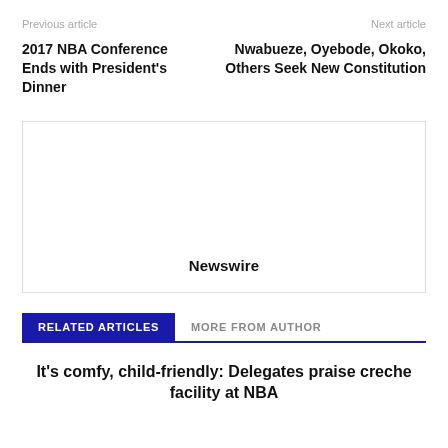Previous article | Next article
2017 NBA Conference Ends with President's Dinner
Nwabueze, Oyebode, Okoko, Others Seek New Constitution
[Figure (other): Advertisement placeholder box with label 'Newswire']
RELATED ARTICLES   MORE FROM AUTHOR
It's comfy, child-friendly: Delegates praise creche facility at NBA